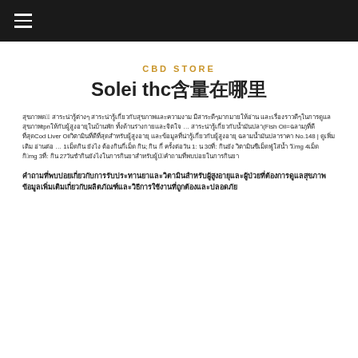☰
CBD STORE
Solei thc含量在哪里
สุขภาพดี95| สาระน่ารู้ต่างๆ สาระน่ารู้เกี่ยวกับสุขภาพและความงาม มีสาระดีๆมากมายให้อ่าน และเรื่องราวดีๆในการดูแลสุขภาพtpnให้กับผู้สูงอายุในบ้านพัก ทั้งด้านร่างกายและจิตใจ … สาระน่ารู้เกี่ยวกับน้ำมันปลา(Fish Oil=ฉลาม)ที่ดีที่สุดCod Liver Oilวิตามินที่ดีที่สุดสำหรับผู้สูงอายุ และข้อมูลที่น่ารู้เกี่ยวกับผู้สูงอายุ ฉลามน้ำมันปลาราคา No.148 | ดูเพิ่มเติม อ่านต่อ … 1เม็ดกิน ยังไง ต้องกินกี่เม็ด กิน; กิน กี่ ครั้งต่อวัน 1: น 30ที่: กินยัง วิตามินซีเม็ดฟู่ใส่น้ำ วัน15mg 4เม็ด กิน72mg 3ที่: กิน 27วันชำกินยังไงในการกินยาสำหรับผู้ป่วย4คำถามที่พบบ่อยในการกินยา
คำถามที่พบบ่อยเกี่ยวกับการรับประทานยาและวิตามินสำหรับผู้สูงอายุและผู้ป่วยที่ต้องการดูแลสุขภาพ
ข้อมูลเพิ่มเติมเกี่ยวกับผลิตภัณฑ์และวิธีการใช้งานที่ถูกต้องและปลอดภัย